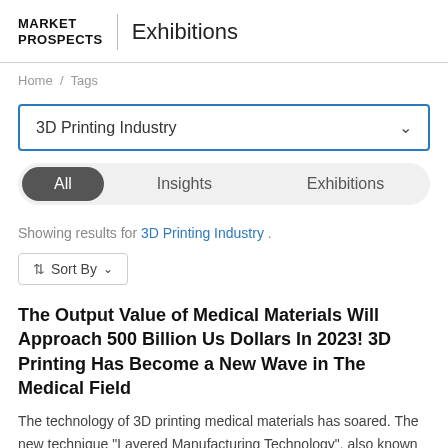MARKET PROSPECTS | Exhibitions
Home / Tags
3D Printing Industry
All   Insights   Exhibitions
Showing results for 3D Printing Industry .
⇅ Sort By ∨
The Output Value of Medical Materials Will Approach 500 Billion Us Dollars In 2023! 3D Printing Has Become a New Wave in The Medical Field
The technology of 3D printing medical materials has soared. The new technique "Layered Manufacturing Technology", also known as 3D printing, which is produced by layer-by-...